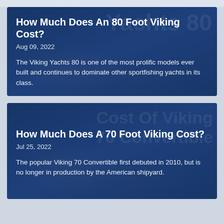[Figure (photo): Card with dark blue background showing a Viking 80 yacht, with watermark text 'Yachts 80']
How Much Does An 80 Foot Viking Cost?
Aug 09, 2022
The Viking Yachts 80 is one of the most prolific models ever built and continues to dominate other sportfishing yachts in its class.
[Figure (photo): Card with dark blue background showing a Viking 70 Convertible sportfishing yacht, with watermark text 'Cost Of Viking 70 Convertible']
How Much Does A 70 Foot Viking Cost?
Jul 25, 2022
The popular Viking 70 Convertible first debuted in 2010, but is no longer in production by the American shipyard.